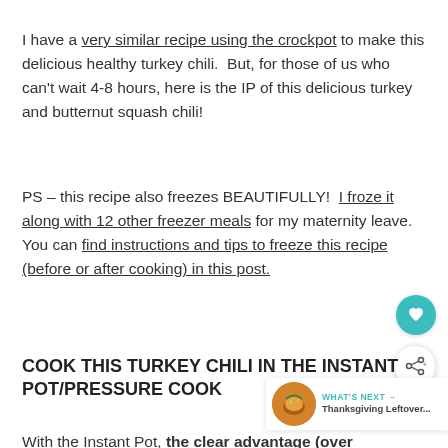I have a very similar recipe using the crockpot to make this delicious healthy turkey chili.  But, for those of us who can't wait 4-8 hours, here is the IP of this delicious turkey and butternut squash chili!
PS – this recipe also freezes BEAUTIFULLY!  I froze it along with 12 other freezer meals for my maternity leave.  You can find instructions and tips to freeze this recipe (before or after cooking) in this post.
COOK THIS TURKEY CHILI IN THE INSTANT POT/PRESSURE COOK
With the Instant Pot, the clear advantage (over